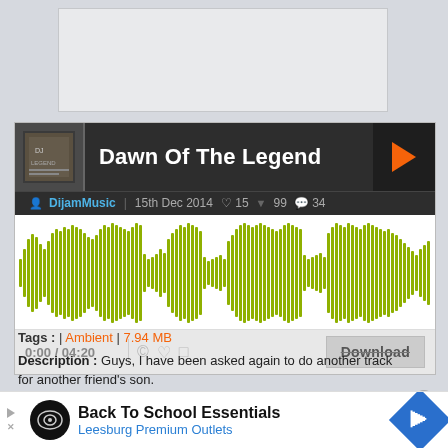[Figure (screenshot): Music player widget for 'Dawn Of The Legend' by DijamMusic on a audio sharing platform. Shows album art, waveform visualization in olive/yellow-green color, playback controls showing 0:00/04:20, and a Download button. Below shows tags: Ambient, 7.94 MB. Description text about the track.]
Tags : | Ambient | 7.94 MB
Description : Guys, I have been asked again to do another track for another friend's son.
He has asked me to do the track with an eighties heavy ascent.
[Figure (infographic): Advertisement banner: Back To School Essentials - Leesburg Premium Outlets with logo and navigation arrow icon]